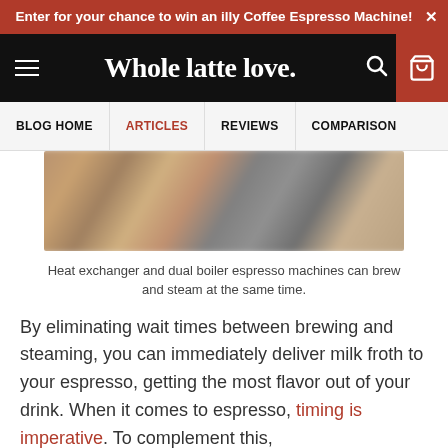Enter for your chance to win an illy Coffee Espresso Machine! ×
[Figure (logo): Whole latte love. website navigation bar with hamburger menu, logo, search icon, and cart icon on dark background]
BLOG HOME | ARTICLES | REVIEWS | COMPARISON
[Figure (photo): Blurred photo of heat exchanger and dual boiler espresso machines on a counter]
Heat exchanger and dual boiler espresso machines can brew and steam at the same time.
By eliminating wait times between brewing and steaming, you can immediately deliver milk froth to your espresso, getting the most flavor out of your drink. When it comes to espresso, timing is imperative. To complement this,